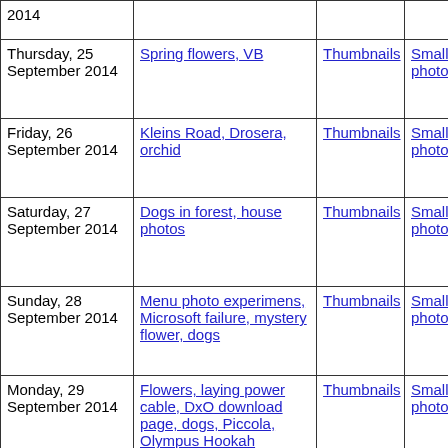| Date | Description | Thumbnails | Small photos | diary |
| --- | --- | --- | --- | --- |
| 2014 |  |  |  |  |
| Thursday, 25 September 2014 | Spring flowers, VB | Thumbnails | Small photos | diary |
| Friday, 26 September 2014 | Kleins Road, Drosera, orchid | Thumbnails | Small photos | diary |
| Saturday, 27 September 2014 | Dogs in forest, house photos | Thumbnails | Small photos | diary |
| Sunday, 28 September 2014 | Menu photo experimens, Microsoft failure, mystery flower, dogs | Thumbnails | Small photos | diary |
| Monday, 29 September 2014 | Flowers, laying power cable, DxO download page, dogs, Piccola, Olympus Hookah | Thumbnails | Small photos | diary |
| Tuesday, 30 September 2014 | Dogs in forest, building site after rain | Thumbnails | Small photos | diary |